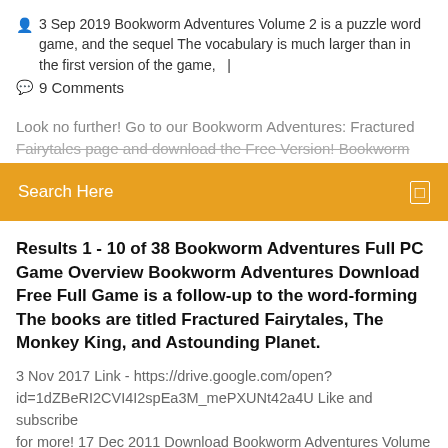3 Sep 2019 Bookworm Adventures Volume 2 is a puzzle word game, and the sequel The vocabulary is much larger than in the first version of the game,   |
9 Comments
Look no further! Go to our Bookworm Adventures: Fractured Fairytales page and download the Free Version! Bookworm
Search Here
Results 1 - 10 of 38 Bookworm Adventures Full PC Game Overview Bookworm Adventures Download Free Full Game is a follow-up to the word-forming The books are titled Fractured Fairytales, The Monkey King, and Astounding Planet.
3 Nov 2017 Link - https://drive.google.com/open?id=1dZBeRI2CVI4I2spEa3M_mePXUNt42a4U Like and subscribe for more! 17 Dec 2011 Download Bookworm Adventures Volume 2 today, or play this and 2400+ other top games online for free